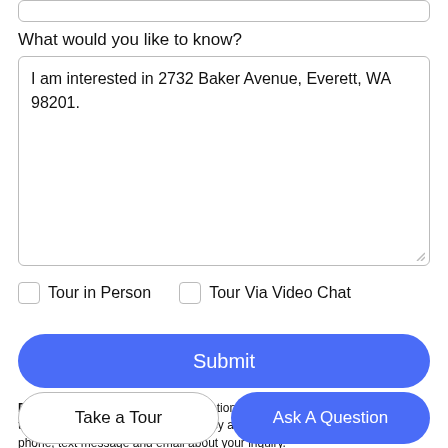What would you like to know?
I am interested in 2732 Baker Avenue, Everett, WA 98201.
Tour in Person
Tour Via Video Chat
Submit
Disclaimer: By entering your information and submitting this form, you agree to our Terms of Use and Privacy Policy and that you may be contacted by phone, text message and email about your inquiry.
Take a Tour
Ask A Question